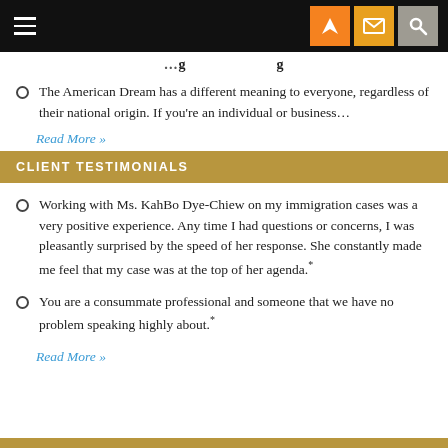Navigation bar with hamburger menu and icons
(partial title — cut off at top)
The American Dream has a different meaning to everyone, regardless of their national origin. If you're an individual or business...
Read More »
CLIENT TESTIMONIALS
Working with Ms. KahBo Dye-Chiew on my immigration cases was a very positive experience. Any time I had questions or concerns, I was pleasantly surprised by the speed of her response. She constantly made me feel that my case was at the top of her agenda.*
You are a consummate professional and someone that we have no problem speaking highly about.*
Read More »